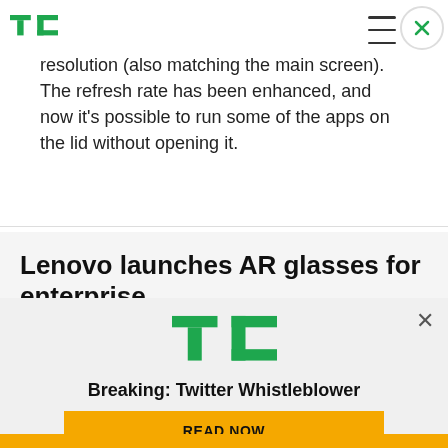TechCrunch header with logo, hamburger menu, and close button
resolution (also matching the main screen). The refresh rate has been enhanced, and now it’s possible to run some of the apps on the lid without opening it.
Lenovo launches AR glasses for enterprise
[Figure (screenshot): TechCrunch advertisement overlay showing TC logo, 'Breaking: Twitter Whistleblower' headline, and a yellow 'READ NOW' button on a light gray background]